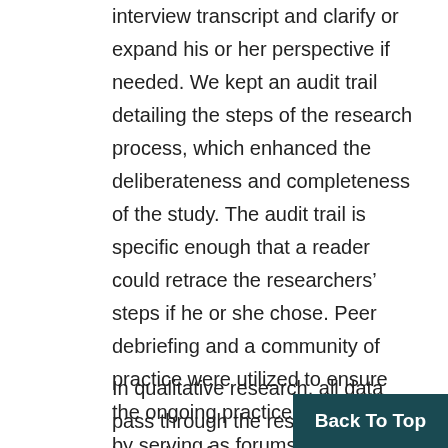interview transcript and clarify or expand his or her perspective if needed. We kept an audit trail detailing the steps of the research process, which enhanced the deliberateness and completeness of the study. The audit trail is specific enough that a reader could retrace the researchers’ steps if he or she chose. Peer debriefing and a community of practice were utilized to ensure the ongoing practice of reflexivity by serving as forums for discussion of issues that arose throughout the process.
In qualitative research, all data pass through the researcher’s lens; therefore, our position